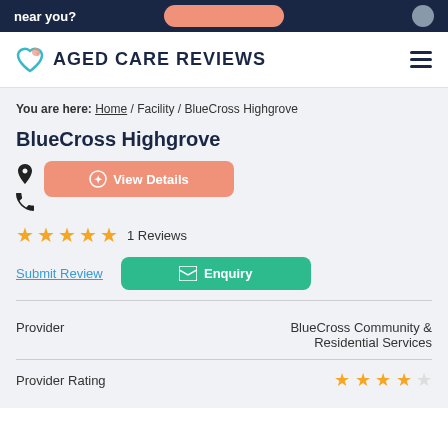near you?
AGED CARE REVIEWS
You are here: Home / Facility / BlueCross Highgrove
BlueCross Highgrove
View Details
★★★★★ 1 Reviews
Submit Review
Enquiry
|  |  |
| --- | --- |
| Provider | BlueCross Community & Residential Services |
| Provider Rating | ★★★★☆ |